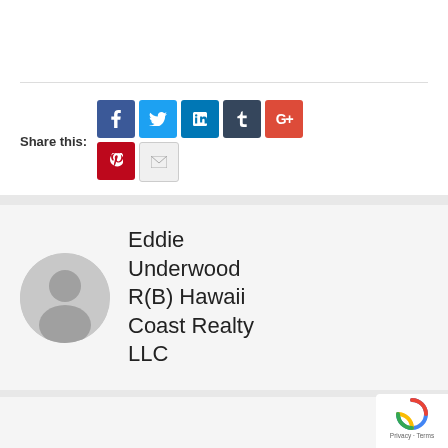Share this:
[Figure (infographic): Social share buttons: Facebook (blue), Twitter (light blue), LinkedIn (dark blue), Tumblr (dark blue-grey), Google+ (red), Pinterest (dark red), Email (grey)]
Eddie Underwood R(B) Hawaii Coast Realty LLC
[Figure (photo): Grey circular avatar placeholder with silhouette]
PREVIOUS POST
8 Surprising Reasons You Need a Good Credit Score